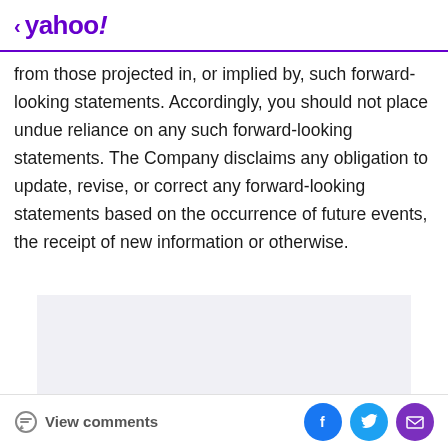< yahoo!
from those projected in, or implied by, such forward-looking statements. Accordingly, you should not place undue reliance on any such forward-looking statements. The Company disclaims any obligation to update, revise, or correct any forward-looking statements based on the occurrence of future events, the receipt of new information or otherwise.
[Figure (other): Advertisement placeholder box with light gray background]
Advertisement
View comments | Facebook share | Twitter share | Email share